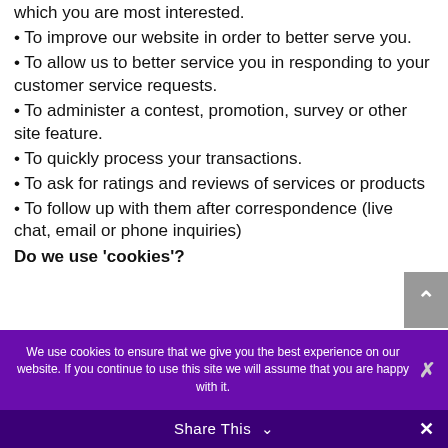which you are most interested.
• To improve our website in order to better serve you.
• To allow us to better service you in responding to your customer service requests.
• To administer a contest, promotion, survey or other site feature.
• To quickly process your transactions.
• To ask for ratings and reviews of services or products
• To follow up with them after correspondence (live chat, email or phone inquiries)
Do we use 'cookies'?
We use cookies to ensure that we give you the best experience on our website. If you continue to use this site we will assume that you are happy with it.
Share This ∨